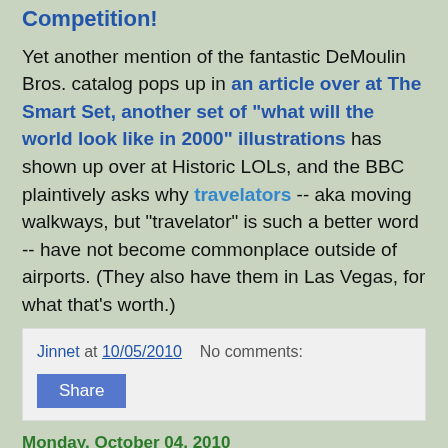Competition!
Yet another mention of the fantastic DeMoulin Bros. catalog pops up in an article over at The Smart Set, another set of "what will the world look like in 2000" illustrations has shown up over at Historic LOLs, and the BBC plaintively asks why travelators -- aka moving walkways, but "travelator" is such a better word -- have not become commonplace outside of airports. (They also have them in Las Vegas, for what that's worth.)
Jinnet at 10/05/2010   No comments:
Share
Monday, October 04, 2010
It's Monday, and that means links about the fine arts, you see.
In writing, it's Anne Rice's birthday today. (Thanks for the